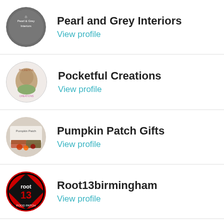Pearl and Grey Interiors — View profile
Pocketful Creations — View profile
Pumpkin Patch Gifts — View profile
Root13birmingham — View profile